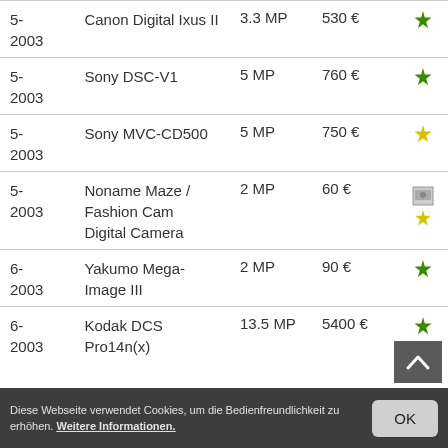| Date | Model | Resolution | Price | Rating |
| --- | --- | --- | --- | --- |
| 5-2003 | Canon Digital Ixus II | 3.3 MP | 530 € | green |
| 5-2003 | Sony DSC-V1 | 5 MP | 760 € | green |
| 5-2003 | Sony MVC-CD500 | 5 MP | 750 € | yellow |
| 5-2003 | Noname Maze / Fashion Cam Digital Camera | 2 MP | 60 € | image+yellow |
| 6-2003 | Yakumo Mega-Image III | 2 MP | 90 € | green |
| 6-2003 | Kodak DCS Pro14n(x) | 13.5 MP | 5400 € | green |
Diese Webseite verwendet Cookies, um die Bedienfreundlichkeit zu erhöhen. Weitere Informationen.